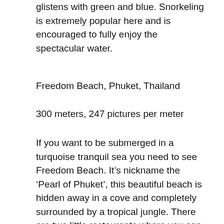glistens with green and blue. Snorkeling is extremely popular here and is encouraged to fully enjoy the spectacular water.
Freedom Beach, Phuket, Thailand
300 meters, 247 pictures per meter
If you want to be submerged in a turquoise tranquil sea you need to see Freedom Beach. It’s nickname the ‘Pearl of Phuket’, this beautiful beach is hidden away in a cove and completely surrounded by a tropical jungle. There are two little restaurants where you can eat Pad Thai while you enjoy the crystal blue waters.
Cala Gat, Cala Ratjada, Spain
40 meters, 246...